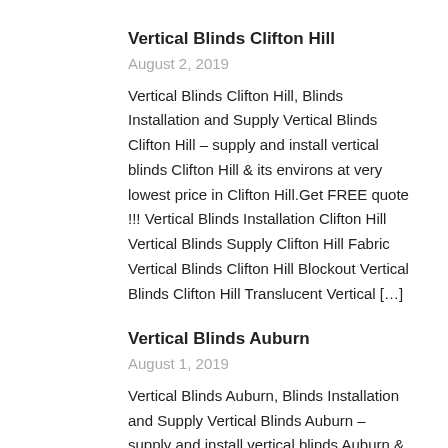Vertical Blinds Clifton Hill
August 2, 2019
Vertical Blinds Clifton Hill, Blinds Installation and Supply Vertical Blinds Clifton Hill – supply and install vertical blinds Clifton Hill & its environs at very lowest price in Clifton Hill.Get FREE quote !!! Vertical Blinds Installation Clifton Hill Vertical Blinds Supply Clifton Hill Fabric Vertical Blinds Clifton Hill Blockout Vertical Blinds Clifton Hill Translucent Vertical […]
Vertical Blinds Auburn
August 1, 2019
Vertical Blinds Auburn, Blinds Installation and Supply Vertical Blinds Auburn – supply and install vertical blinds Auburn & its environs at very lowest price in Auburn.Get FREE quote !!! Vertical Blinds Installation